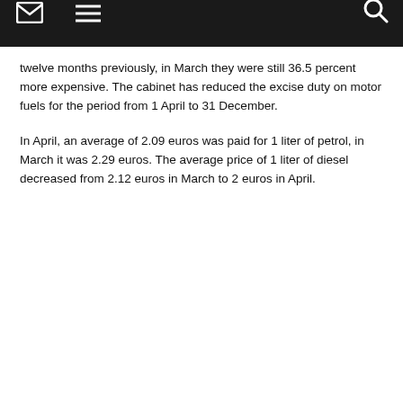[mail icon] [menu icon] [search icon]
twelve months previously, in March they were still 36.5 percent more expensive. The cabinet has reduced the excise duty on motor fuels for the period from 1 April to 31 December.
In April, an average of 2.09 euros was paid for 1 liter of petrol, in March it was 2.29 euros. The average price of 1 liter of diesel decreased from 2.12 euros in March to 2 euros in April.